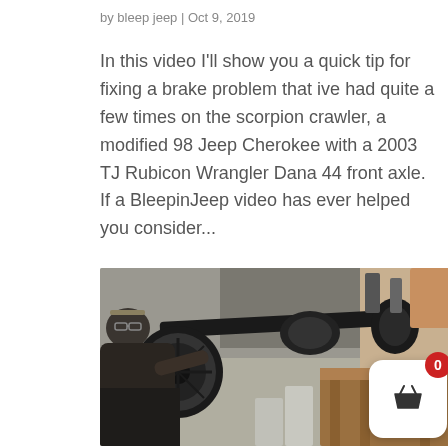by bleep jeep | Oct 9, 2019
In this video I'll show you a quick tip for fixing a brake problem that ive had quite a few times on the scorpion crawler, a modified 98 Jeep Cherokee with a 2003 TJ Rubicon Wrangler Dana 44 front axle. If a BleepinJeep video has ever helped you consider...
[Figure (photo): A mechanic working on a Jeep Dana 44 front axle assembly mounted on stands in a garage. The axle with brake rotor is visible in the foreground.]